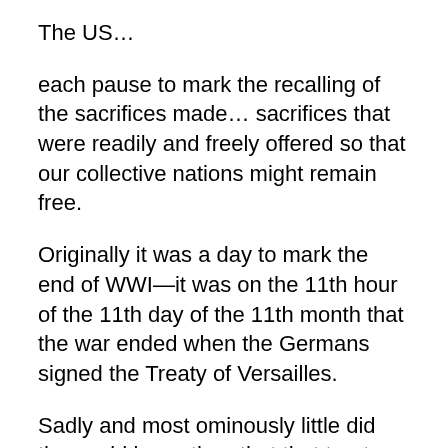The US…
each pause to mark the recalling of the sacrifices made… sacrifices that were readily and freely offered so that our collective nations might remain free.
Originally it was a day to mark the end of WWI—it was on the 11th hour of the 11th day of the 11th month that the war ended when the Germans signed the Treaty of Versailles.
Sadly and most ominously little did the world know then that that treaty would actually usher in a new and even larger horror—only to follow suit not long after… A more terrible horror than the first…
And so thus the UK, who marked Remembrance Day yesterday on Sunday with the laying of…